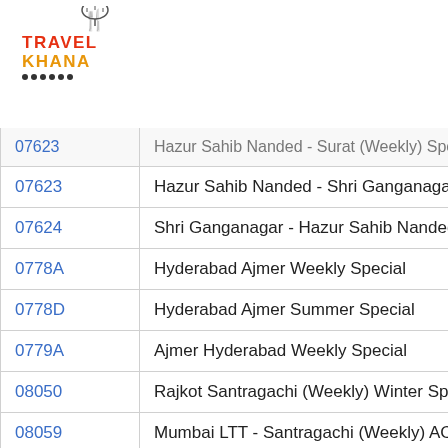[Figure (logo): Travel Khana logo with chef hat icon and orange/red text]
| Train No. | Train Name |
| --- | --- |
| 07623 | Hazur Sahib Nanded - Shri Ganganagar Spe... |
| 07624 | Shri Ganganagar - Hazur Sahib Nanded Spe... |
| 0778A | Hyderabad Ajmer Weekly Special |
| 0778D | Hyderabad Ajmer Summer Special |
| 0779A | Ajmer Hyderabad Weekly Special |
| 08050 | Rajkot Santragachi (Weekly) Winter Special... |
| 08059 | Mumbai LTT - Santragachi (Weekly) AC SF ... |
| 08060 | Santragachi - Mumbai LTT (Weekly) SF AC ... |
| 08069 | Mumbai LTT - Santragachi SF Winter Specia... |